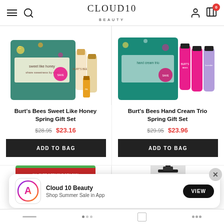Cloud10 Beauty header with hamburger menu, search, logo, user icon, cart (0)
[Figure (photo): Burt's Bees Sweet Like Honey Spring Gift Set product image - honey colored gift box with hand cream tubes]
Burt's Bees Sweet Like Honey Spring Gift Set
$28.95  $23.16
ADD TO BAG
[Figure (photo): Burt's Bees Hand Cream Trio Spring Gift Set product image - pink/magenta hand cream tubes in gift box]
Burt's Bees Hand Cream Trio Spring Gift Set
$29.95  $23.96
ADD TO BAG
[Figure (screenshot): App install banner: Cloud 10 Beauty app icon (blue circle with A), text 'Cloud 10 Beauty / Shop Summer Sale in App', VIEW button, X close button]